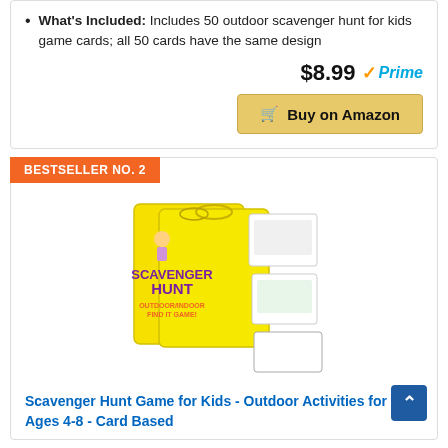What's Included: Includes 50 outdoor scavenger hunt for kids game cards; all 50 cards have the same design
$8.99 Prime
Buy on Amazon
BESTSELLER NO. 2
[Figure (photo): Scavenger Hunt game box and cards product image on yellow background]
Scavenger Hunt Game for Kids - Outdoor Activities for Kids Ages 4-8 - Card Based